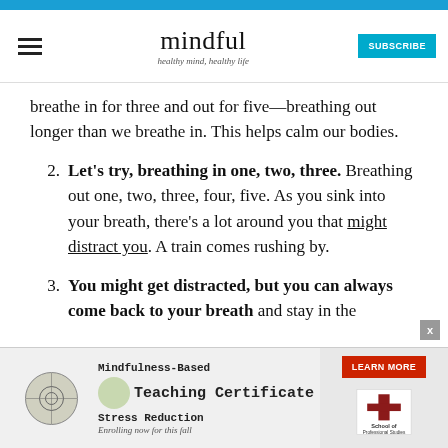mindful — healthy mind, healthy life — SUBSCRIBE
breathe in for three and out for five—breathing out longer than we breathe in. This helps calm our bodies.
2. Let's try, breathing in one, two, three. Breathing out one, two, three, four, five. As you sink into your breath, there's a lot around you that might distract you. A train comes rushing by.
3. You might get distracted, but you can always come back to your breath and stay in the
[Figure (advertisement): Mindfulness-Based Stress Reduction Teaching Certificate ad with school logo and Learn More button]